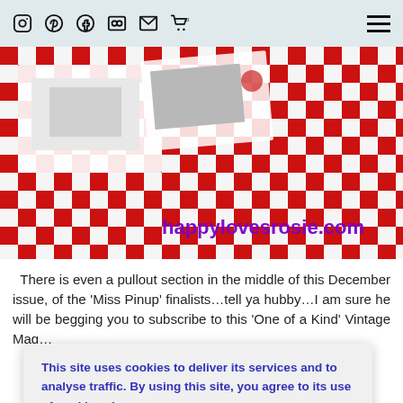Social icons (Instagram, Pinterest, Facebook, Flickr, Email, Cart) and hamburger menu
[Figure (photo): Hero image showing a red and white checkered tablecloth with magazines/printouts on it, overlaid with the URL text happylovesrosie.com in purple]
There is even a pullout section in the middle of this December issue, of the 'Miss Pinup' finalists…tell ya hubby…I am sure he will be begging you to subscribe to this 'One of a Kind' Vintage Mag…
This site uses cookies to deliver its services and to analyse traffic. By using this site, you agree to its use of cookies. Learn more
OK